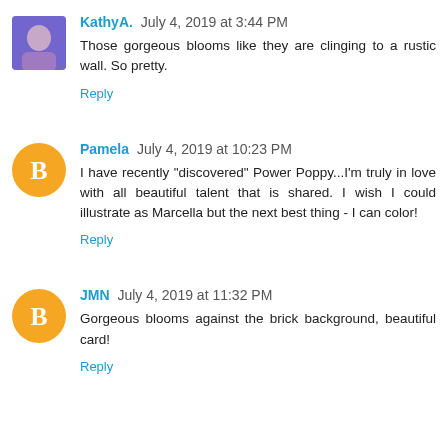KathyA. July 4, 2019 at 3:44 PM
Those gorgeous blooms like they are clinging to a rustic wall. So pretty.
Reply
Pamela July 4, 2019 at 10:23 PM
I have recently "discovered" Power Poppy...I'm truly in love with all beautiful talent that is shared. I wish I could illustrate as Marcella but the next best thing - I can color!
Reply
JMN July 4, 2019 at 11:32 PM
Gorgeous blooms against the brick background, beautiful card!
Reply